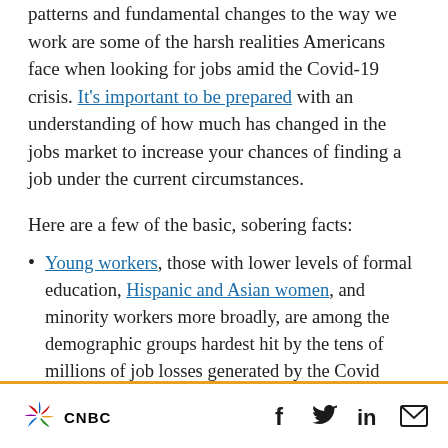patterns and fundamental changes to the way we work are some of the harsh realities Americans face when looking for jobs amid the Covid-19 crisis. It's important to be prepared with an understanding of how much has changed in the jobs market to increase your chances of finding a job under the current circumstances.
Here are a few of the basic, sobering facts:
Young workers, those with lower levels of formal education, Hispanic and Asian women, and minority workers more broadly, are among the demographic groups hardest hit by the tens of millions of job losses generated by the Covid
CNBC | social icons: f, Twitter, in, email